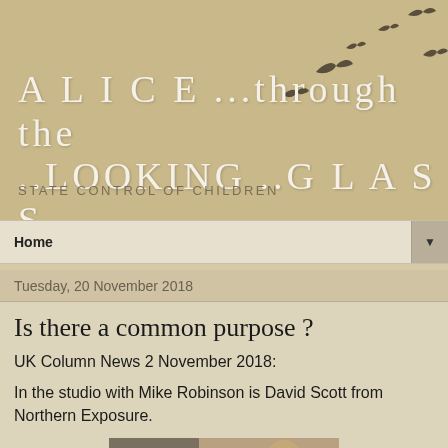A L I C E ...through the ..LOOKING ..G L A S S..
STATE CONTROL OF CHILDREN
Home
Tuesday, 20 November 2018
Is there a common purpose ?
UK Column News 2 November 2018:
In the studio with Mike Robinson is David Scott from Northern Exposure.
[Figure (screenshot): Thumbnail image showing a video still from UK Column News with a person visible]